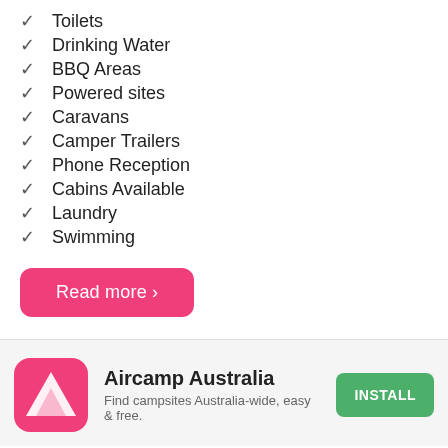✓ Toilets
✓ Drinking Water
✓ BBQ Areas
✓ Powered sites
✓ Caravans
✓ Camper Trailers
✓ Phone Reception
✓ Cabins Available
✓ Laundry
✓ Swimming
Read more ›
[Figure (logo): Aircamp Australia app icon: pink rounded square with white triangle/tent logo]
Aircamp Australia
Find campsites Australia-wide, easy & free.
INSTALL